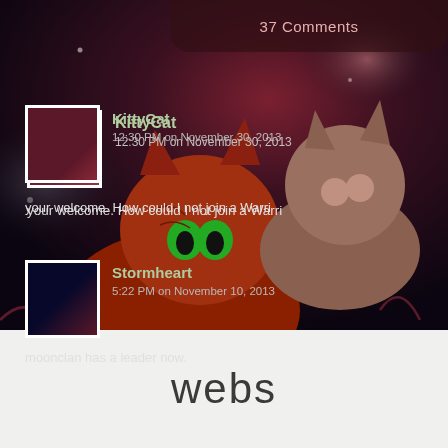37 Comments
[Figure (illustration): Two warrior cats illustration — a large orange/red cat with green eyes in the foreground and a grey/brown cat in the background, set against a dark purple/red sky background]
KittyCat
12:30 PM on November 30, 2013
your welcome. How could I not join a Warri
Stormheart
5:22 PM on November 10, 2013
moonclan has a leader now.
NightWhisker
6:55 AM on October 17, 2013
Can i be leader of moonClan? i noticed you
Snow
[Figure (logo): webs logo in dark text on light grey background]